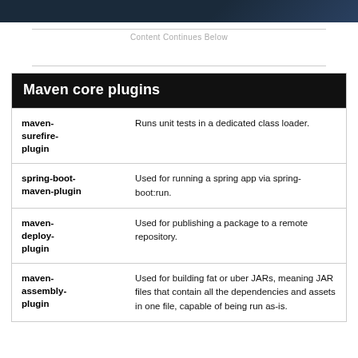Content Continues Below
| Plugin | Description |
| --- | --- |
| maven-surefire-plugin | Runs unit tests in a dedicated class loader. |
| spring-boot-maven-plugin | Used for running a spring app via spring-boot:run. |
| maven-deploy-plugin | Used for publishing a package to a remote repository. |
| maven-assembly-plugin | Used for building fat or uber JARs, meaning JAR files that contain all the dependencies and assets in one file, capable of being run as-is. |